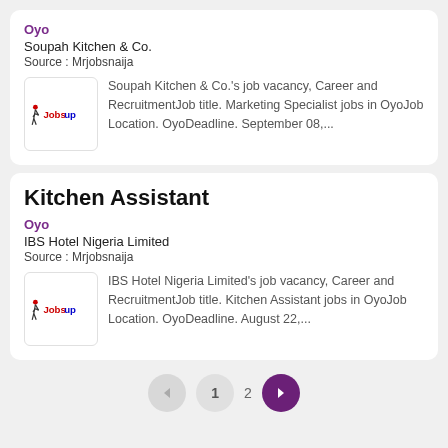Oyo
Soupah Kitchen & Co.
Source : Mrjobsnaija
Soupah Kitchen & Co.'s job vacancy, Career and RecruitmentJob title. Marketing Specialist jobs in OyoJob Location. OyoDeadline. September 08,...
Kitchen Assistant
Oyo
IBS Hotel Nigeria Limited
Source : Mrjobsnaija
IBS Hotel Nigeria Limited's job vacancy, Career and RecruitmentJob title. Kitchen Assistant jobs in OyoJob Location. OyoDeadline. August 22,...